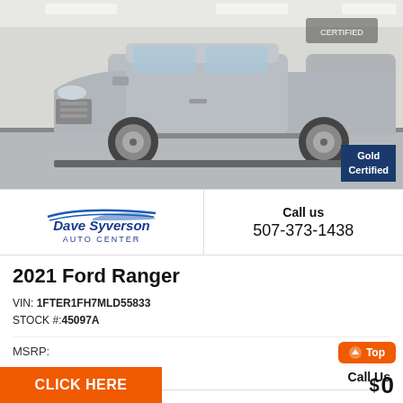[Figure (photo): Silver 2021 Ford Ranger pickup truck in a dealership showroom, side/front 3/4 angle view. Gold Certified badge in bottom-right corner.]
Dave Syverson Auto Center (dealer logo)
Call us
507-373-1438
2021 Ford Ranger
VIN: 1FTER1FH7MLD55833
STOCK #: 45097A
MSRP: -
Dealer Discount   Call Us
CLICK HERE
$ 0